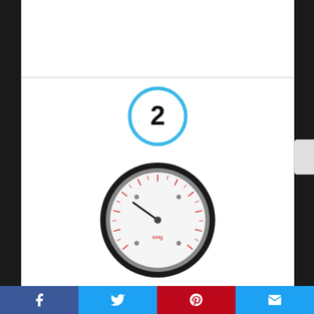[Figure (illustration): Blue circle with number 2 inside — product listing step/sequence indicator]
[Figure (photo): 2 inch dial utility vacuum pressure gauge with black steel case, white face, red and black scale markings]
2" Dial Utility Vacuum Pressure Gauge, Water Oil Gas, 1/4" NPT Center Back Mount, Black Steel Case, 30HG/0PSI